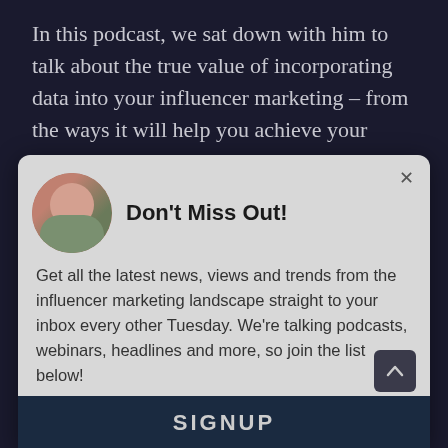In this podcast, we sat down with him to talk about the true value of incorporating data into your influencer marketing – from the ways it will help you achieve your company's business goals to everything you'll need to get started.
Starting right from the beginning, Kristian ... the data to inform ... encer selection but also cautions ... ing your data-driven journey and there.
[Figure (screenshot): Modal popup overlay with circular avatar photo of two people talking, title 'Don't Miss Out!', newsletter signup text, and a SIGNUP button at the bottom.]
Don't Miss Out!
Get all the latest news, views and trends from the influencer marketing landscape straight to your inbox every other Tuesday. We're talking podcasts, webinars, headlines and more, so join the list below!
SIGNUP